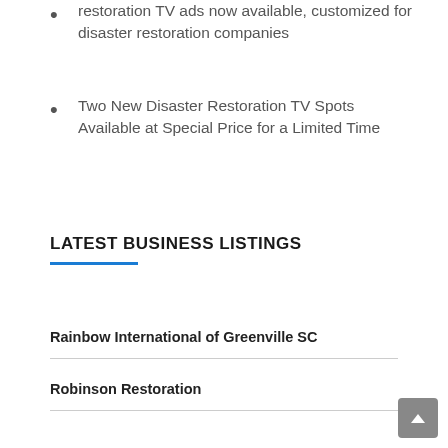restoration TV ads now available, customized for disaster restoration companies
Two New Disaster Restoration TV Spots Available at Special Price for a Limited Time
LATEST BUSINESS LISTINGS
Rainbow International of Greenville SC
Robinson Restoration